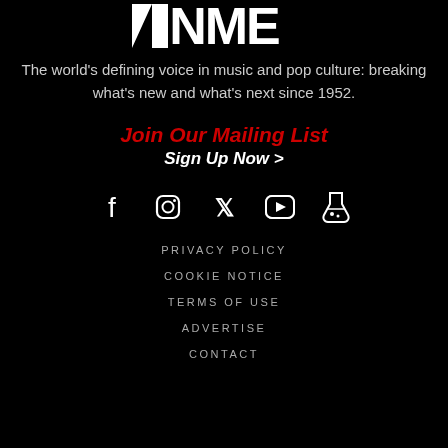[Figure (logo): NME logo in white bold letters on black background]
The world's defining voice in music and pop culture: breaking what's new and what's next since 1952.
Join Our Mailing List
Sign Up Now >
[Figure (illustration): Social media icons: Facebook, Instagram, Twitter, YouTube, and a fifth icon (possibly TikTok or similar)]
PRIVACY POLICY
COOKIE NOTICE
TERMS OF USE
ADVERTISE
CONTACT